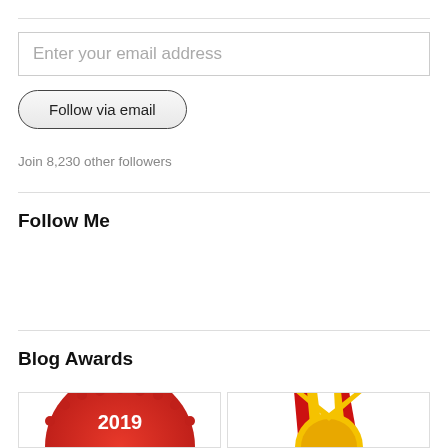Enter your email address
Follow via email
Join 8,230 other followers
Follow Me
Blog Awards
[Figure (illustration): Two blog award images partially visible at the bottom: a red 2019 badge on the left and a gold medal with red and yellow ribbon on the right]